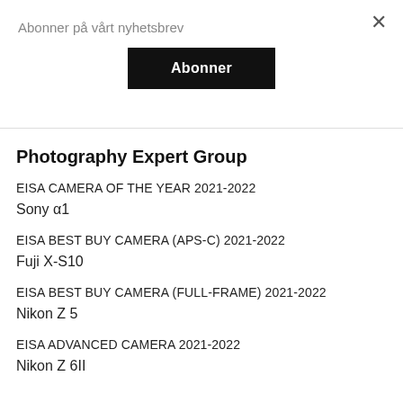Abonner på vårt nyhetsbrev
Abonner
Photography Expert Group
EISA CAMERA OF THE YEAR 2021-2022
Sony α1
EISA BEST BUY CAMERA (APS-C) 2021-2022
Fuji X-S10
EISA BEST BUY CAMERA (FULL-FRAME) 2021-2022
Nikon Z 5
EISA ADVANCED CAMERA 2021-2022
Nikon Z 6II